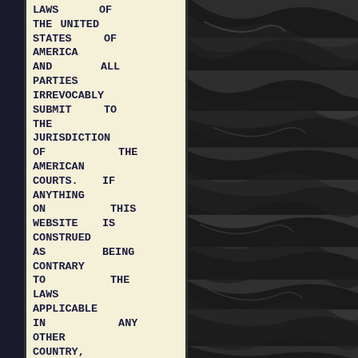LAWS OF THE UNITED STATES OF AMERICA AND ALL PARTIES IRREVOCABLY SUBMIT TO THE JURISDICTION OF THE AMERICAN COURTS. IF ANYTHING ON THIS WEBSITE IS CONSTRUED AS BEING CONTRARY TO THE LAWS APPLICABLE IN ANY OTHER COUNTRY, THEN THIS WEBSITE IS NOT INTENDED TO BE ACCESSED BY PERSONS FROM THAT COUNTRY AND ANY PERSONS
[Figure (photo): Dark photograph of draped black satin or silk fabric with deep folds and highlights creating wave-like patterns]